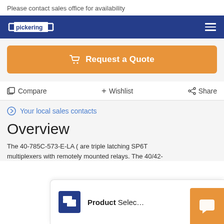Please contact sales office for availability
[Figure (logo): Pickering logo in white on dark blue navigation bar]
[Figure (other): Orange 'Request a Quote' button with shopping cart icon]
Compare  + Wishlist  < Share
Your local sales contacts
Overview
The 40-785C-573-E-LA ( are triple latching SP6T multiplexers with remotely mounted relays. The 40/42-
[Figure (screenshot): Product Selector popup dialog with blue logo icon partially visible at bottom of page]